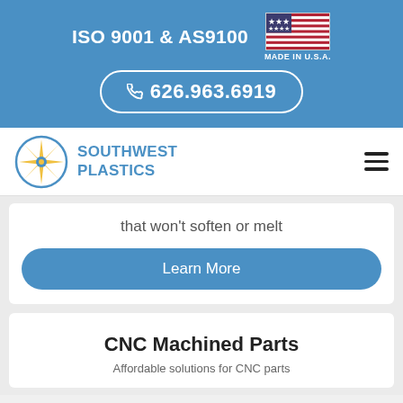ISO 9001 & AS9100 | MADE IN U.S.A.
626.963.6919
[Figure (logo): Southwest Plastics logo with compass rose icon in blue and gold, with text SOUTHWEST PLASTICS in blue]
that won't soften or melt
Learn More
CNC Machined Parts